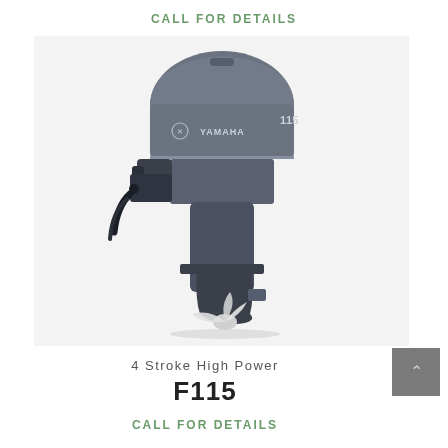CALL FOR DETAILS
[Figure (photo): Yamaha F115 4-stroke outboard motor in dark grey/slate color, shown in profile view with white propeller visible at bottom, on a light grey background.]
4 Stroke High Power
F115
CALL FOR DETAILS